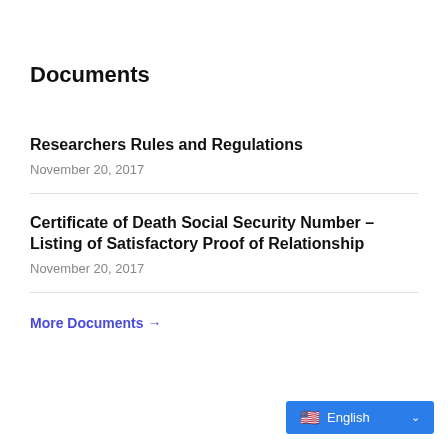Documents
Researchers Rules and Regulations
November 20, 2017
Certificate of Death Social Security Number – Listing of Satisfactory Proof of Relationship
November 20, 2017
More Documents →
🇺🇸 English